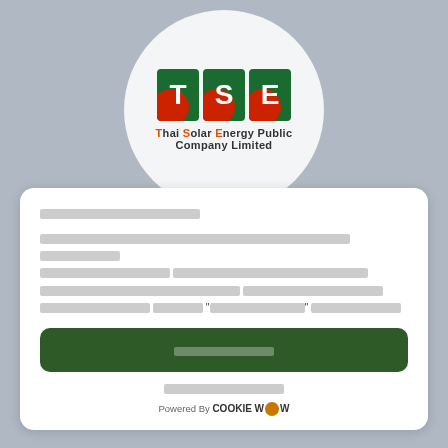[Figure (logo): TSE Thai Solar Energy Public Company Limited logo — three green square tiles with letters T, S, E in white, red arc accent on each tile, company name below in bold with T, S, E highlighted in orange-red]
[Thai text - cookie consent title]
[Thai text - cookie consent body with bold/underlined text and quoted term]
[Thai text - accept all cookies button]
[Thai text - reject/settings link]
Powered By COOKIEWOW